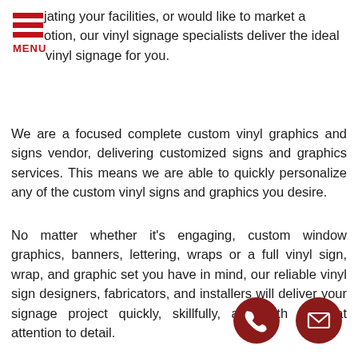[Figure (logo): Red hamburger menu icon with three horizontal bars and MENU label in red]
jating your facilities, or would like to market a otion, our vinyl signage specialists deliver the ideal vinyl signage for you.
We are a focused complete custom vinyl graphics and signs vendor, delivering customized signs and graphics services. This means we are able to quickly personalize any of the custom vinyl signs and graphics you desire.
No matter whether it’s engaging, custom window graphics, banners, lettering, wraps or a full vinyl sign, wrap, and graphic set you have in mind, our reliable vinyl sign designers, fabricators, and installers will deliver your signage project quickly, skillfully, and with a great attention to detail.
[Figure (other): Dark red circular phone icon button]
[Figure (other): Dark red circular mail/envelope icon button]